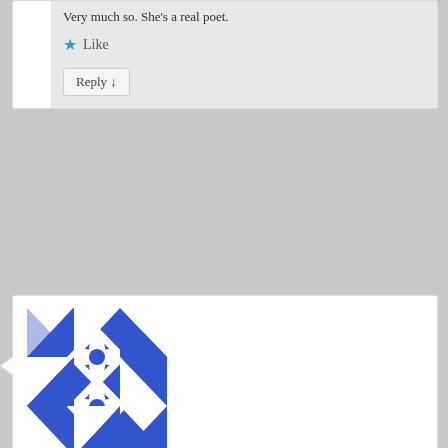Very much so. She's a real poet.
Like
Reply ↓
[Figure (illustration): Blue and white geometric quilt-pattern avatar for user nixy43]
nixy43 on December 9, 2011 at 5:53 am said:
Thanks for this article – I found it really interesting (I even borrowed one of the photos for something else). There's much excitement about all things Dickensy and Christmassy at the moment because of Dickens' 200 birthday next year. Here's a post I wrote on a similar theme:
http://wp.me/p1I6Mp-5m
Like